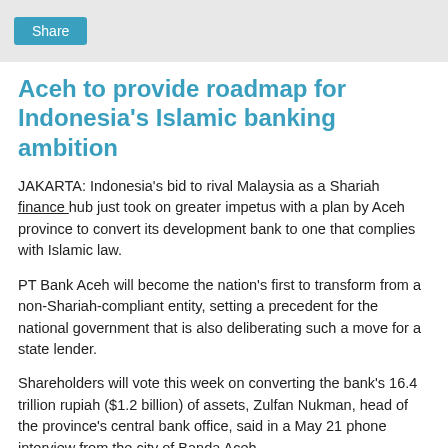Share
Aceh to provide roadmap for Indonesia's Islamic banking ambition
JAKARTA: Indonesia's bid to rival Malaysia as a Shariah finance hub just took on greater impetus with a plan by Aceh province to convert its development bank to one that complies with Islamic law.
PT Bank Aceh will become the nation's first to transform from a non-Shariah-compliant entity, setting a precedent for the national government that is also deliberating such a move for a state lender.
Shareholders will vote this week on converting the bank's 16.4 trillion rupiah ($1.2 billion) of assets, Zulfan Nukman, head of the province's central bank office, said in a May 21 phone interview from the city of Banda Aceh.
Indonesia's Financial Services Authority plans to announce this